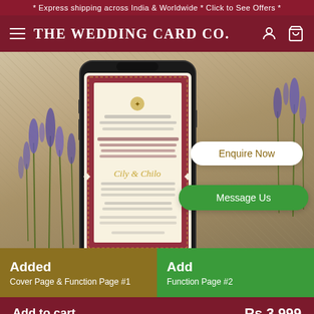* Express shipping across India & Worldwide * Click to See Offers *
THE WEDDING CARD CO.
[Figure (screenshot): Product page showing a smartphone displaying a wedding invitation card with ornate red border design, lavender flowers in background. Two overlay buttons: 'Enquire Now' (white) and 'Message Us' (green).]
Added
Cover Page & Function Page #1
Add
Function Page #2
Add to cart
Rs.3,999